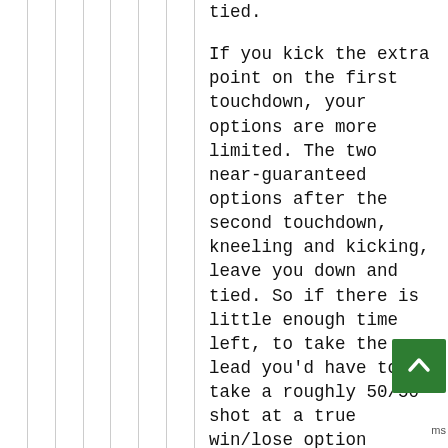tied.

If you kick the extra point on the first touchdown, your options are more limited. The two near-guaranteed options after the second touchdown, kneeling and kicking, leave you down and tied. So if there is little enough time left, to take the lead you'd have to take a roughly 50/50 shot at a true win/lose option (going for two).

Of course, the third alternative is that you miss the first two-pointer